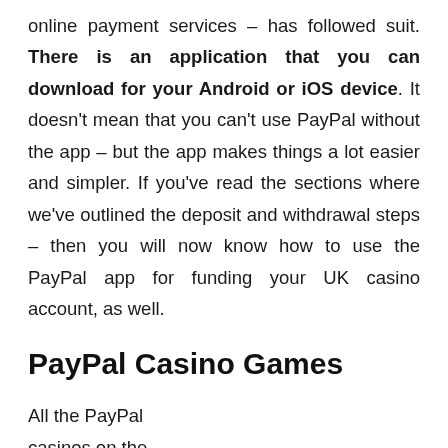online payment services – has followed suit. There is an application that you can download for your Android or iOS device. It doesn't mean that you can't use PayPal without the app – but the app makes things a lot easier and simpler. If you've read the sections where we've outlined the deposit and withdrawal steps – then you will now know how to use the PayPal app for funding your UK casino account, as well.
PayPal Casino Games
All the PayPal casinos on the